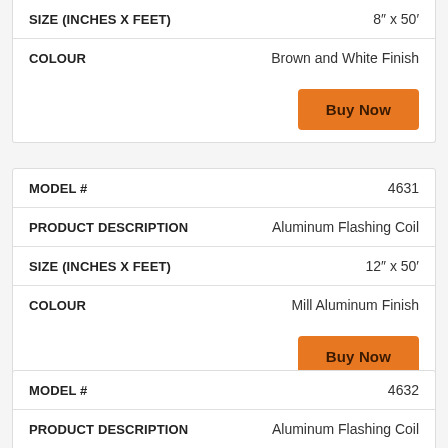| Field | Value |
| --- | --- |
| SIZE (INCHES X FEET) | 8″ x 50′ |
| COLOUR | Brown and White Finish |
Buy Now
| Field | Value |
| --- | --- |
| MODEL # | 4631 |
| PRODUCT DESCRIPTION | Aluminum Flashing Coil |
| SIZE (INCHES X FEET) | 12″ x 50′ |
| COLOUR | Mill Aluminum Finish |
Buy Now
| Field | Value |
| --- | --- |
| MODEL # | 4632 |
| PRODUCT DESCRIPTION | Aluminum Flashing Coil |
| SIZE (INCHES X FEET) | 12″ x 50′ |